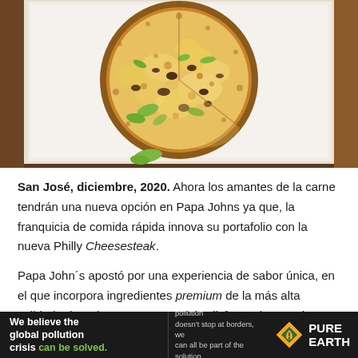[Figure (photo): Top-down photo of a Papa Johns pizza with melted cheese, green peppers, and meat toppings in a white pizza box, partially cut with one slice separated]
San José, diciembre, 2020. Ahora los amantes de la carne tendrán una nueva opción en Papa Johns ya que, la franquicia de comida rápida innova su portafolio con la nueva Philly Cheesesteak.
Papa John´s apostó por una experiencia de sabor única, en el que incorpora ingredientes premium de la más alta calidad. Ahora las personas podrán disfrutar de una pizza a
[Figure (advertisement): Pure Earth advertisement banner: 'We believe the global pollution crisis can be solved.' with tagline 'In a world where pollution doesn't stop at borders, we can all be part of the solution. JOIN US.' and Pure Earth logo]